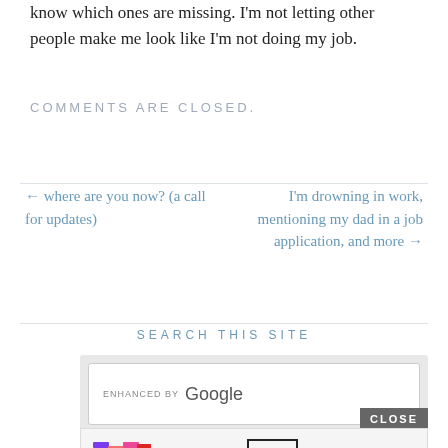know which ones are missing. I'm not letting other people make me look like I'm not doing my job.
COMMENTS ARE CLOSED.
← where are you now? (a call for updates)
I'm drowning in work, mentioning my dad in a job application, and more →
SEARCH THIS SITE
[Figure (screenshot): Google search box with 'enhanced by Google' text inside a rounded rectangle input field, within a light grey container with a CLOSE button]
[Figure (photo): MAC cosmetics advertisement banner showing colorful lipsticks and a SHOP NOW button]